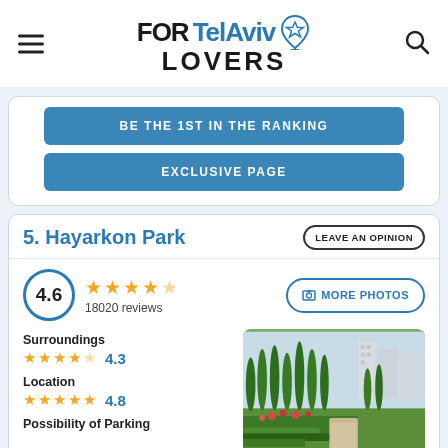FORTelAviv LOVERS
BE THE 1ST IN THE RANKING
EXCLUSIVE PAGE
5. Hayarkon Park
LEAVE AN OPINION
4.6 18020 reviews
MORE PHOTOS
Surroundings 4.3
Location 4.8
Possibility of Parking
[Figure (photo): Park with tall cypress trees, green hedges, flower beds, and city buildings in background]